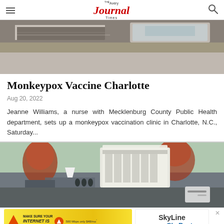The Avery Journal Times
[Figure (photo): Close-up photo of a table surface with medical/vaccination clinic setup equipment]
Monkeypox Vaccine Charlotte
Aug 20, 2022
Jeanne Williams, a nurse with Mecklenburg County Public Health department, sets up a monkeypox vaccination clinic in Charlotte, N.C., Saturday...
[Figure (photo): Outdoor parking lot scene with tent setup, trees with red foliage, and a white multi-story building in the background]
[Figure (other): Advertisement banner: SkyLine SkyBest - Make sure your internet is well done, 500 Mbps only $48/mo]